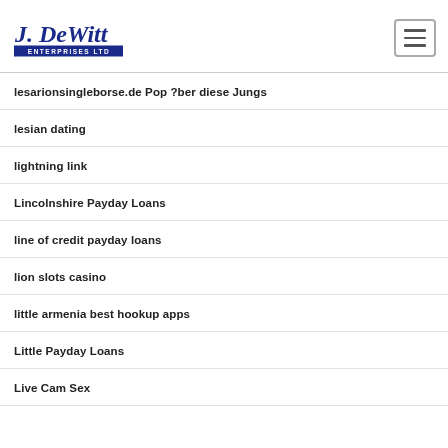J. DeWitt Enterprises Ltd
lesarionsingleborse.de Pop ?ber diese Jungs
lesian dating
lightning link
Lincolnshire Payday Loans
line of credit payday loans
lion slots casino
little armenia best hookup apps
Little Payday Loans
Live Cam Sex